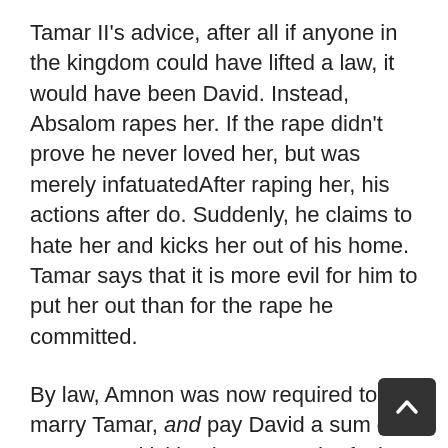Tamar II's advice, after all if anyone in the kingdom could have lifted a law, it would have been David. Instead, Absalom rapes her. If the rape didn't prove he never loved her, but was merely infatuatedAfter raping her, his actions after do. Suddenly, he claims to hate her and kicks her out of his home. Tamar says that it is more evil for him to put her out than for the rape he committed.
By law, Amnon was now required to marry Tamar, and pay David a sum of money. By kicking her out and refusing to marry her, Amnon put Tamar in the a very low position. In Tamar's time, virginity signified worth. Without it, Tamar's marriage prospects would plummet, as no respectable Israelite would want to marry her, princess or not. Tamar is so distraught that